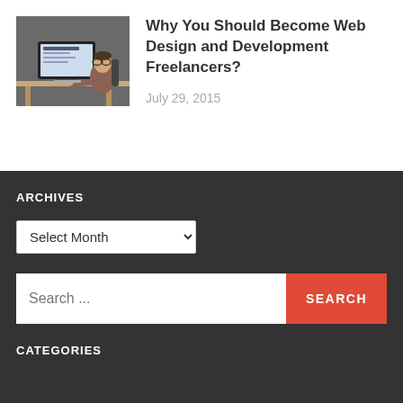[Figure (photo): Person sitting at a desk working on a computer/laptop, viewed from the side, dark background.]
Why You Should Become Web Design and Development Freelancers?
July 29, 2015
ARCHIVES
Select Month
Search ...
CATEGORIES